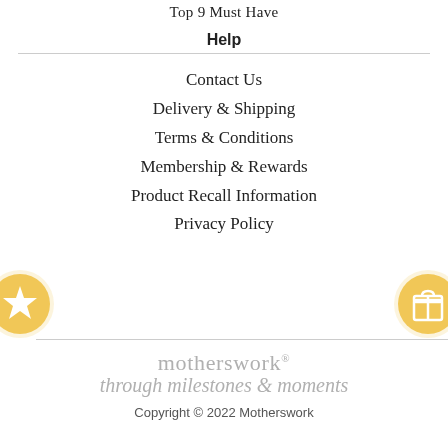Top 9 Must Have
Help
Contact Us
Delivery & Shipping
Terms & Conditions
Membership & Rewards
Product Recall Information
Privacy Policy
[Figure (logo): Motherswork logo with star icon (left) and gift icon (right)]
[Figure (logo): Motherswork brand logo: 'motherswork' in grey with registered mark, tagline 'through milestones & moments' in italic script]
Copyright © 2022 Motherswork